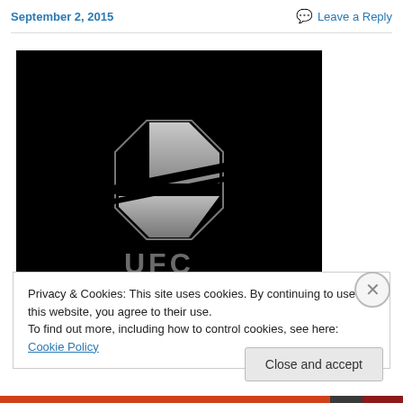September 2, 2015 | Leave a Reply
[Figure (logo): UFC logo on black background — silver/grey octagon shape with diagonal bars, 'UFC' text partially visible at bottom]
Privacy & Cookies: This site uses cookies. By continuing to use this website, you agree to their use.
To find out more, including how to control cookies, see here: Cookie Policy
Close and accept